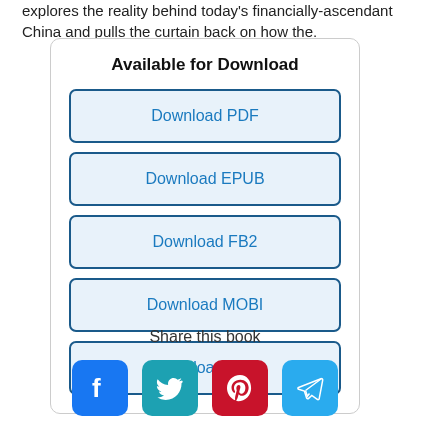explores the reality behind today's financially-ascendant China and pulls the curtain back on how the.
Available for Download
Download PDF
Download EPUB
Download FB2
Download MOBI
Download TXT
Share this book
[Figure (infographic): Four social media share icons: Facebook (blue), Twitter (teal), Pinterest (red), Telegram (blue)]